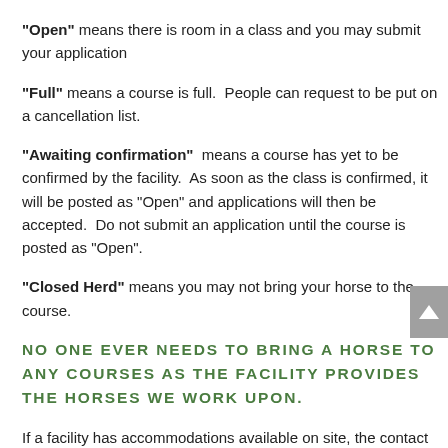"Open" means there is room in a class and you may submit your application
"Full" means a course is full.  People can request to be put on a cancellation list.
"Awaiting confirmation"  means a course has yet to be confirmed by the facility.  As soon as the class is confirmed, it will be posted as “Open” and applications will then be accepted.  Do not submit an application until the course is posted as “Open”.
"Closed Herd" means you may not bring your horse to the course.
NO ONE EVER NEEDS TO BRING A HORSE TO ANY COURSES AS THE FACILITY PROVIDES THE HORSES WE WORK UPON.
If a facility has accommodations available on site, the contact will be posted.  Accommodations are the responsibility of